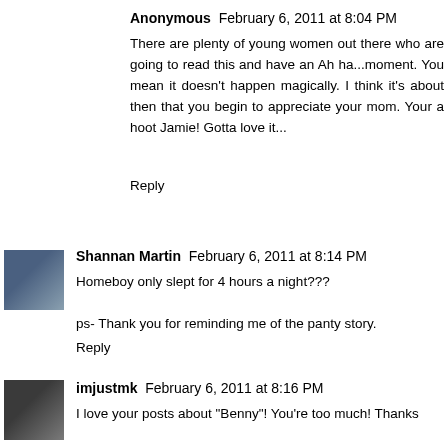Anonymous  February 6, 2011 at 8:04 PM
There are plenty of young women out there who are going to read this and have an Ah ha...moment. You mean it doesn't happen magically. I think it's about then that you begin to appreciate your mom. Your a hoot Jamie! Gotta love it...
Reply
[Figure (photo): Avatar photo of Shannan Martin - person outdoors]
Shannan Martin  February 6, 2011 at 8:14 PM
Homeboy only slept for 4 hours a night???
ps- Thank you for reminding me of the panty story.
Reply
[Figure (photo): Avatar photo of imjustmk - couple photo]
imjustmk  February 6, 2011 at 8:16 PM
I love your posts about "Benny"! You're too much! Thanks